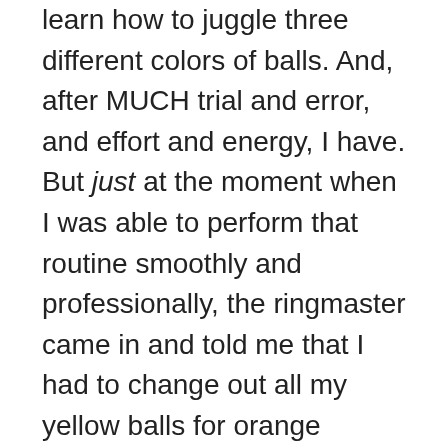learn how to juggle three different colors of balls. And, after MUCH trial and error, and effort and energy, I have. But just at the moment when I was able to perform that routine smoothly and professionally, the ringmaster came in and told me that I had to change out all my yellow balls for orange (without stopping the juggling, mind you), oh, and by the way, you also need to ride this unicycle while you're juggling, and, oh, we also think it would be great if you could hold onto this pole with your teeth and balance all of these spinning plates at the same time.
So I'm pretty much just waiting for the whole shebang to come crashing down at any